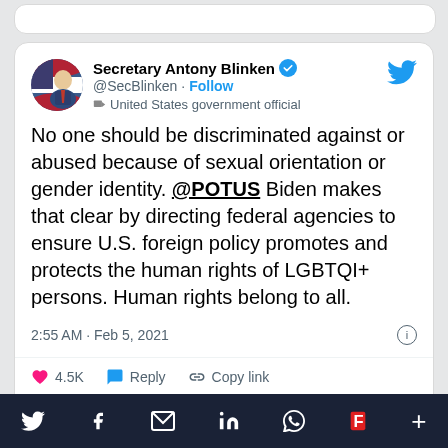[Figure (screenshot): Screenshot of a tweet by Secretary Antony Blinken (@SecBlinken) with verified badge and Follow button, United States government official label. Tweet text: 'No one should be discriminated against or abused because of sexual orientation or gender identity. @POTUS Biden makes that clear by directing federal agencies to ensure U.S. foreign policy promotes and protects the human rights of LGBTQI+ persons. Human rights belong to all.' Posted at 2:55 AM · Feb 5, 2021. 4.5K likes, Reply, Copy link actions. Read 189 replies button. Bottom social share bar with Twitter, Facebook, Email, LinkedIn, WhatsApp, Flipboard, and more icons.]